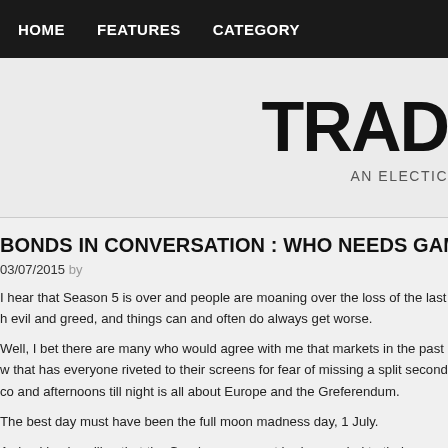HOME   FEATURES   CATEGORY
TRAD
AN ELECTIC
BONDS IN CONVERSATION : WHO NEEDS GAMI
03/07/2015 by
I hear that Season 5 is over and people are moaning over the loss of the last h evil and greed, and things can and often do always get worse.
Well, I bet there are many who would agree with me that markets in the past w that has everyone riveted to their screens for fear of missing a split second co and afternoons till night is all about Europe and the Greferendum.
The best day must have been the full moon madness day, 1 July.
A shocking headline that the Greek government had conceded to their creditor